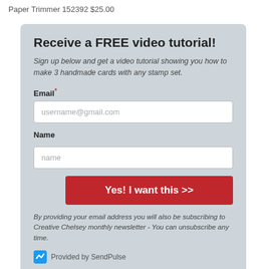Paper Trimmer 152392 $25.00
Receive a FREE video tutorial!
Sign up below and get a video tutorial showing you how to make 3 handmade cards with any stamp set.
Email*
username@gmail.com
Name
name
Yes! I want this >>
By providing your email address you will also be subscribing to Creative Chelsey monthly newsletter - You can unsubscribe any time.
Provided by SendPulse